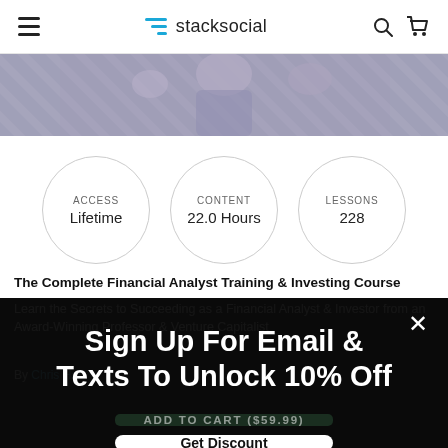stacksocial
[Figure (photo): Person studying or working, partially visible at top of page]
ACCESS Lifetime
CONTENT 22.0 Hours
LESSONS 228
The Complete Financial Analyst Training & Investing Course
Learn the Secrets to Succeeding as a Financial Analyst & Investor from an Award-Winning Professor & Venture Capitalist
By Chris Har...
Sign Up For Email & Texts To Unlock 10% Off
ADD TO CART ($59.99)
Get Discount